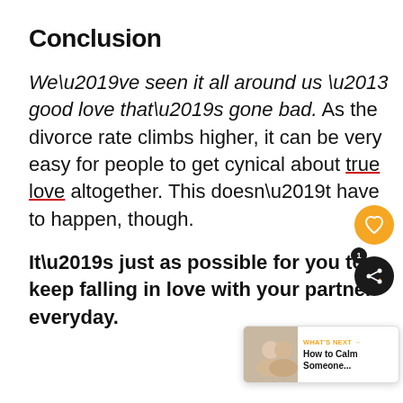Conclusion
We’ve seen it all around us – good love that’s gone bad. As the divorce rate climbs higher, it can be very easy for people to get cynical about true love altogether. This doesn’t have to happen, though.
It’s just as possible for you to keep falling in love with your partner everyday.